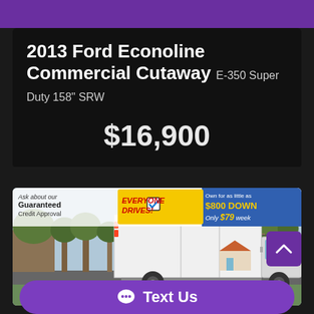2013 Ford Econoline Commercial Cutaway E-350 Super Duty 158" SRW
$16,900
[Figure (photo): Photo of a 2013 Ford Econoline Commercial Cutaway box truck with dealer advertisement banner reading: Ask about our Guaranteed Credit Approval, EVERYONE DRIVES!, Own for as little as $800 DOWN Only $79 week]
Text Us